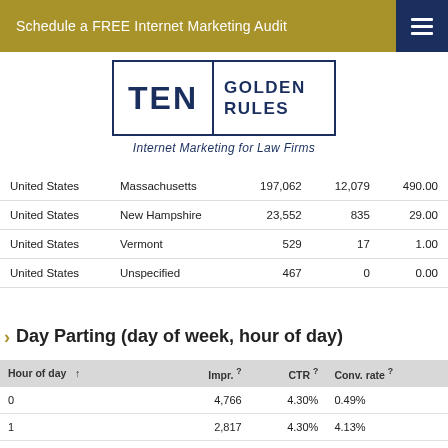Schedule a FREE Internet Marketing Audit
[Figure (logo): Ten Golden Rules - Internet Marketing for Law Firms logo]
|  |  |  |  |  |
| --- | --- | --- | --- | --- |
| United States | Massachusetts | 197,062 | 12,079 | 490.00 |
| United States | New Hampshire | 23,552 | 835 | 29.00 |
| United States | Vermont | 529 | 17 | 1.00 |
| United States | Unspecified | 467 | 0 | 0.00 |
Day Parting (day of week, hour of day)
| Hour of day ↑ |  | Impr. ? | CTR ? | Conv. rate ? |
| --- | --- | --- | --- | --- |
| 0 |  | 4,766 | 4.30% | 0.49% |
| 1 |  | 2,817 | 4.30% | 4.13% |
| 2 |  | 1,655 | 3.56% | 3.39% |